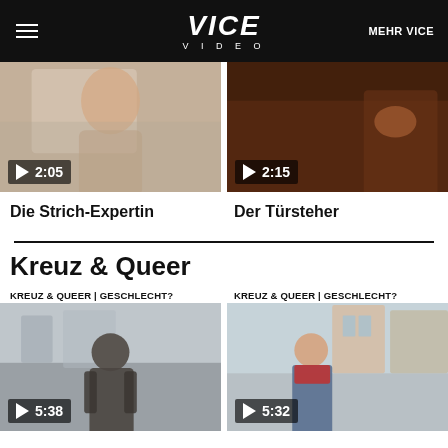VICE VIDEO | MEHR VICE
[Figure (screenshot): Video thumbnail left - woman, duration 2:05]
[Figure (screenshot): Video thumbnail right - bar scene, duration 2:15]
Die Strich-Expertin
Der Türsteher
Kreuz & Queer
KREUZ & QUEER | GESCHLECHT?
KREUZ & QUEER | GESCHLECHT?
[Figure (screenshot): Video thumbnail - person in fur coat on street, duration 5:38]
[Figure (screenshot): Video thumbnail - person with red scarf, duration 5:32]